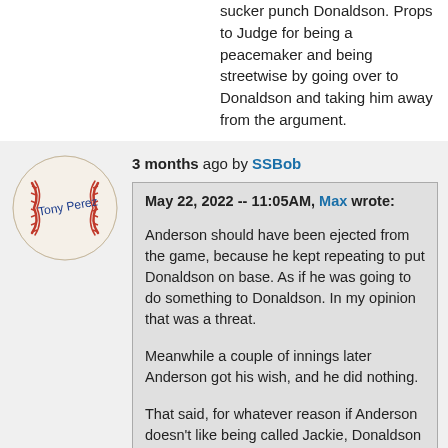sucker punch Donaldson. Props to Judge for being a peacemaker and being streetwise by going over to Donaldson and taking him away from the argument.
3 months ago by SSBob
[Figure (photo): A signed baseball with signature reading 'Tony Perez' or similar, white baseball with red stitching]
May 22, 2022 -- 11:05AM, Max wrote: Anderson should have been ejected from the game, because he kept repeating to put Donaldson on base. As if he was going to do something to Donaldson. In my opinion that was a threat. Meanwhile a couple of innings later Anderson got his wish, and he did nothing. That said, for whatever reason if Anderson doesn't like being called Jackie, Donaldson shouldn't call him that anymore.